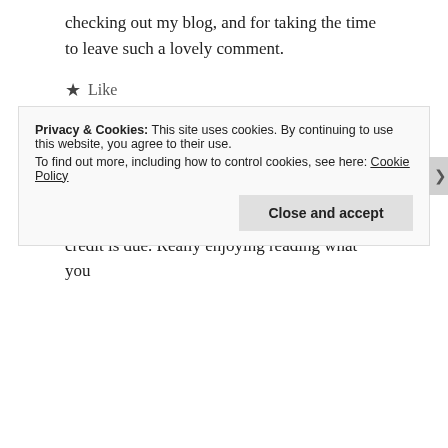checking out my blog, and for taking the time to leave such a lovely comment.
★ Like
amyevans8811
May 28, 2014
Absolutely no problem Jamie. Credit where credit is due. Really enjoying reading what you
Privacy & Cookies: This site uses cookies. By continuing to use this website, you agree to their use. To find out more, including how to control cookies, see here: Cookie Policy
Close and accept